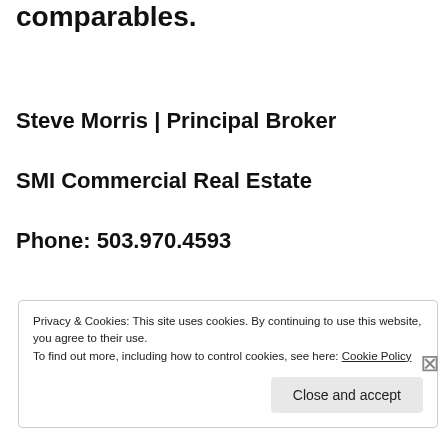comparables.
Steve Morris | Principal Broker
SMI Commercial Real Estate
Phone: 503.970.4593
Privacy & Cookies: This site uses cookies. By continuing to use this website, you agree to their use.
To find out more, including how to control cookies, see here: Cookie Policy
Close and accept